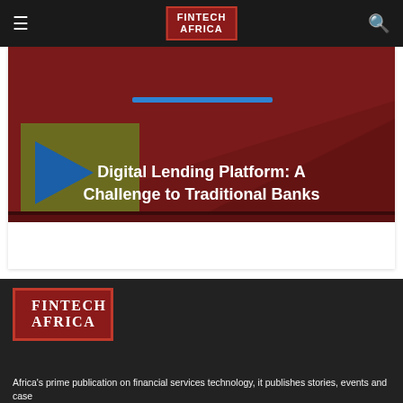FINTECH AFRICA
[Figure (illustration): Article hero image showing 'Digital Lending Platform: A Challenge to Traditional Banks' with dark red/maroon background, a book or tablet with blue arrow graphic on the left side, and bold white text overlaid.]
[Figure (logo): FINTECH AFRICA logo — white text on dark red/maroon background with red border, large version in footer area.]
Africa's prime publication on financial services technology, it publishes stories, events and case